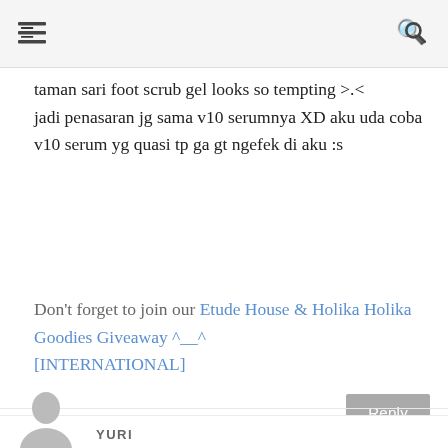≡ [menu] [search]
taman sari foot scrub gel looks so tempting >.< jadi penasaran jg sama v10 serumnya XD aku uda coba v10 serum yg quasi tp ga gt ngefek di aku :s
Don't forget to join our Etude House & Holika Holika Goodies Giveaway ^__^ [INTERNATIONAL]
YURI